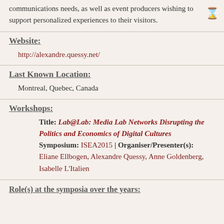communications needs, as well as event producers wishing to support personalized experiences to their visitors.
Website:
http://alexandre.quessy.net/
Last Known Location:
Montreal, Quebec, Canada
Workshops:
Title: Lab@Lab: Media Lab Networks Disrupting the Politics and Economics of Digital Cultures Symposium: ISEA2015 | Organiser/Presenter(s): Eliane Ellbogen, Alexandre Quessy, Anne Goldenberg, Isabelle L'Italien
Role(s) at the symposia over the years: